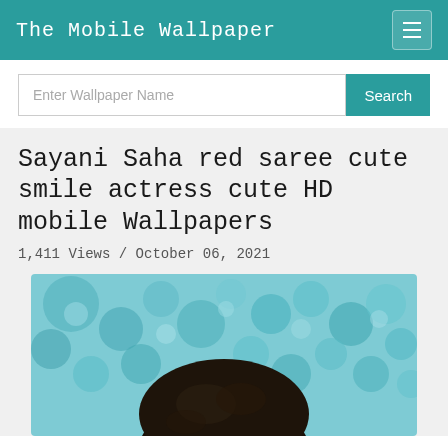The Mobile Wallpaper
Enter Wallpaper Name
Sayani Saha red saree cute smile actress cute HD mobile Wallpapers
1,411 Views / October 06, 2021
[Figure (photo): Photo of woman with dark hair against a teal/blue floral background, cropped to show top of head]